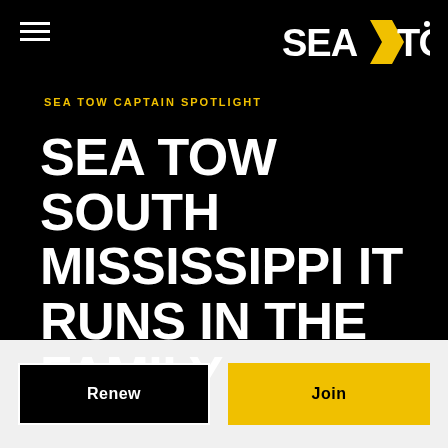[Figure (logo): Sea Tow logo in white and yellow on black background]
SEA TOW CAPTAIN SPOTLIGHT
SEA TOW SOUTH MISSISSIPPI IT RUNS IN THE FAMILY
Renew
Join